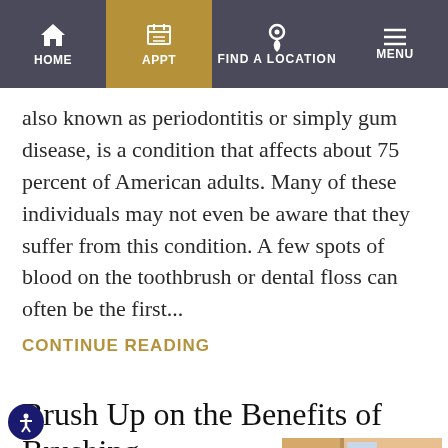HOME | APPT | FIND A LOCATION | MENU
also known as periodontitis or simply gum disease, is a condition that affects about 75 percent of American adults. Many of these individuals may not even be aware that they suffer from this condition. A few spots of blood on the toothbrush or dental floss can often be the first...
CONTINUE READING
Brush Up on the Benefits of Brushing
POSTED UNDER: GENERAL
POSTED ON: JANUARY 5, 2021
Most of us have been brushing our teeth for so long that we take our
[Figure (photo): A woman helping a young child brush teeth in a bathroom setting]